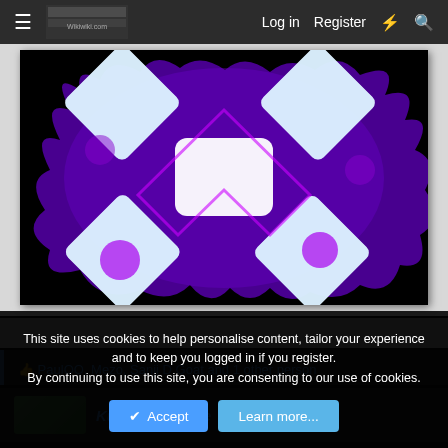Log in  Register
[Figure (illustration): Black background with a glowing white and purple X shape (crossbones-style) with purple flame/glow effects around it]
PaulOO, Mezo, Sanji D Goat and 1 other person
Kurozumi Circie
This site uses cookies to help personalise content, tailor your experience and to keep you logged in if you register.
By continuing to use this site, you are consenting to our use of cookies.
Accept  Learn more...